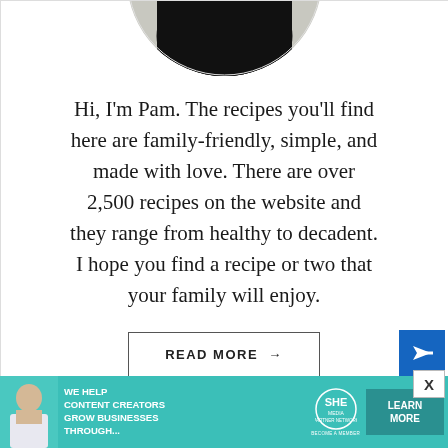[Figure (photo): Circular portrait photo of Pam, a woman in a black top standing in a kitchen setting]
Hi, I'm Pam. The recipes you'll find here are family-friendly, simple, and made with love. There are over 2,500 recipes on the website and they range from healthy to decadent. I hope you find a recipe or two that your family will enjoy.
READ MORE →
[Figure (infographic): Advertisement banner: WE HELP CONTENT CREATORS GROW BUSINESSES THROUGH... SHE Partner Network - Become a Member. LEARN MORE button.]